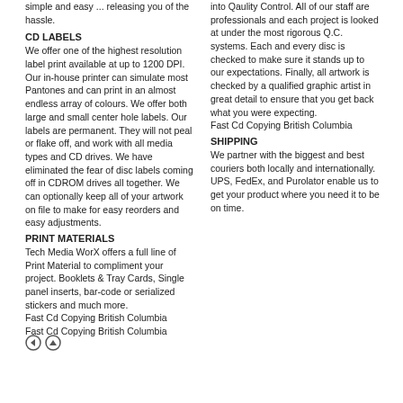simple and easy ... releasing you of the hassle.
CD LABELS
We offer one of the highest resolution label print available at up to 1200 DPI. Our in-house printer can simulate most Pantones and can print in an almost endless array of colours. We offer both large and small center hole labels. Our labels are permanent. They will not peal or flake off, and work with all media types and CD drives. We have eliminated the fear of disc labels coming off in CDROM drives all together. We can optionally keep all of your artwork on file to make for easy reorders and easy adjustments.
PRINT MATERIALS
Tech Media WorX offers a full line of Print Material to compliment your project. Booklets & Tray Cards, Single panel inserts, bar-code or serialized stickers and much more.
Fast Cd Copying British Columbia
Fast Cd Copying British Columbia
into Qaulity Control. All of our staff are professionals and each project is looked at under the most rigorous Q.C. systems. Each and every disc is checked to make sure it stands up to our expectations. Finally, all artwork is checked by a qualified graphic artist in great detail to ensure that you get back what you were expecting.
Fast Cd Copying British Columbia
SHIPPING
We partner with the biggest and best couriers both locally and internationally. UPS, FedEx, and Purolator enable us to get your product where you need it to be on time.